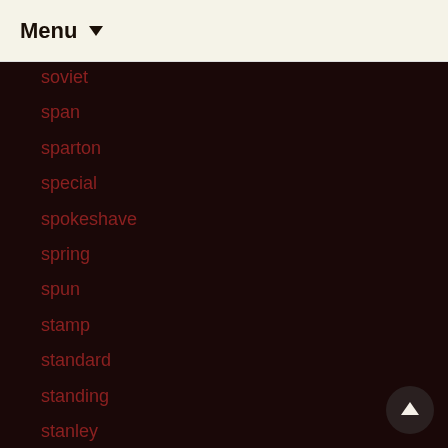Menu
soviet
span
sparton
special
spokeshave
spring
spun
stamp
standard
standing
stanley
star
station
steamer